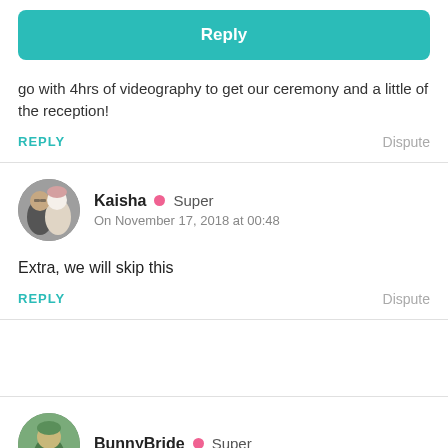[Figure (other): Teal Reply button]
go with 4hrs of videography to get our ceremony and a little of the reception!
REPLY   Dispute
Kaisha • Super
On November 17, 2018 at 00:48
Extra, we will skip this
REPLY   Dispute
BunnyBride • Super